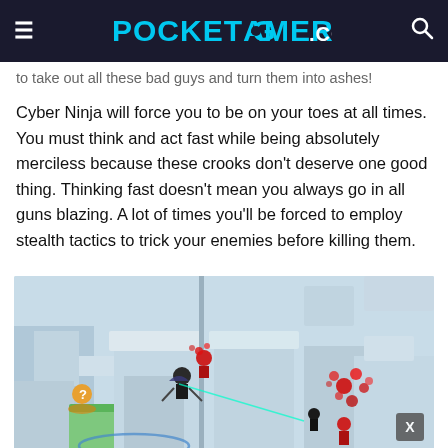≡ POCKET GAMER.com 🔍
to take out all these bad guys and turn them into ashes!
Cyber Ninja will force you to be on your toes at all times. You must think and act fast while being absolutely merciless because these crooks don't deserve one good thing. Thinking fast doesn't mean you always go in all guns blazing. A lot of times you'll be forced to employ stealth tactics to trick your enemies before killing them.
[Figure (screenshot): In-game screenshot of Cyber Ninja showing an isometric view of a level with a ninja character fighting enemies, red splatter effects indicating kills, a question mark enemy on the left side, and a blue circle at the bottom. A small X button is visible in the bottom right corner.]